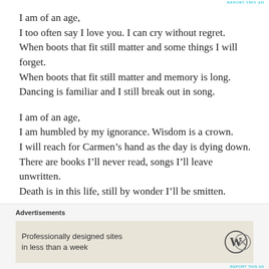REPORT THIS AD
I am of an age,
I too often say I love you. I can cry without regret.
When boots that fit still matter and some things I will forget.
When boots that fit still matter and memory is long.
Dancing is familiar and I still break out in song.

I am of an age,
I am humbled by my ignorance. Wisdom is a crown.
I will reach for Carmen’s hand as the day is dying down.
There are books I’ll never read, songs I’ll leave unwritten.
Death is in this life, still by wonder I’ll be smitten.
Advertisements
Professionally designed sites in less than a week